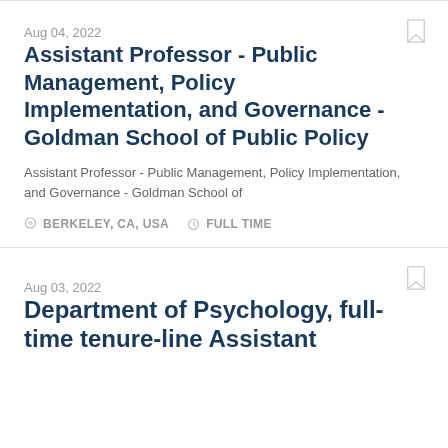Aug 04, 2022
Assistant Professor - Public Management, Policy Implementation, and Governance - Goldman School of Public Policy
Assistant Professor - Public Management, Policy Implementation, and Governance - Goldman School of
BERKELEY, CA, USA   FULL TIME
Aug 03, 2022
Department of Psychology, full-time tenure-line Assistant